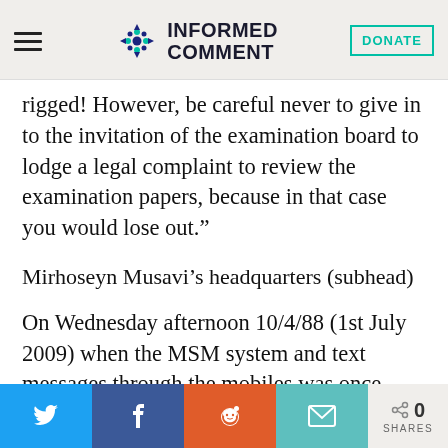INFORMED COMMENT
rigged! However, be careful never to give in to the invitation of the examination board to lodge a legal complaint to review the examination papers, because in that case you would lose out.”
Mirhoseyn Musavi’s headquarters (subhead)
On Wednesday afternoon 10/4/88 (1st July 2009) when the MSM system and text messages through the mobiles was once
0 SHARES